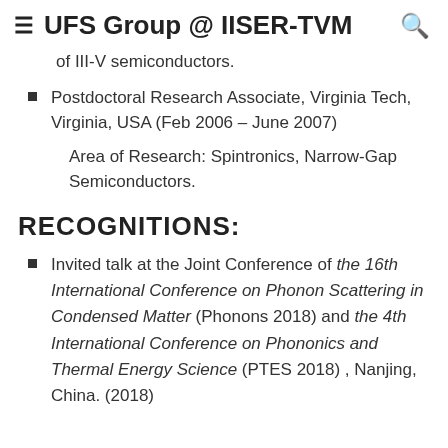UFS Group @ IISER-TVM
of III-V semiconductors.
Postdoctoral Research Associate, Virginia Tech, Virginia, USA (Feb 2006 – June 2007)

Area of Research: Spintronics, Narrow-Gap Semiconductors.
RECOGNITIONS:
Invited talk at the Joint Conference of the 16th International Conference on Phonon Scattering in Condensed Matter (Phonons 2018) and the 4th International Conference on Phononics and Thermal Energy Science (PTES 2018) , Nanjing, China. (2018)